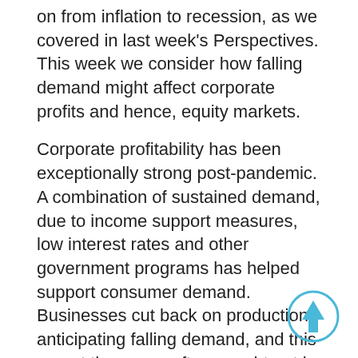on from inflation to recession, as we covered in last week's Perspectives. This week we consider how falling demand might affect corporate profits and hence, equity markets.
Corporate profitability has been exceptionally strong post-pandemic. A combination of sustained demand, due to income support measures, low interest rates and other government programs has helped support consumer demand. Businesses cut back on production, anticipating falling demand, and this meant they were often caught out by the rapid nature of the rebound. Strong demand and increasing prices has meant margins have expanded rapidly. Subsequently, business have rushed to restock, often against a backdrop of rising input costs and supply chain disruptions.
We have now reached a point where consumers are feeling the pinch from rising prices, hence demand is slipping, and